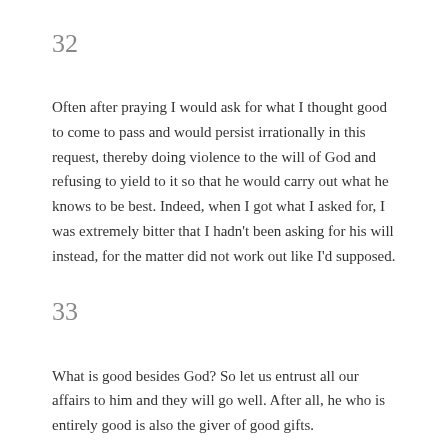32
Often after praying I would ask for what I thought good to come to pass and would persist irrationally in this request, thereby doing violence to the will of God and refusing to yield to it so that he would carry out what he knows to be best. Indeed, when I got what I asked for, I was extremely bitter that I hadn't been asking for his will instead, for the matter did not work out like I'd supposed.
33
What is good besides God? So let us entrust all our affairs to him and they will go well. After all, he who is entirely good is also the giver of good gifts.